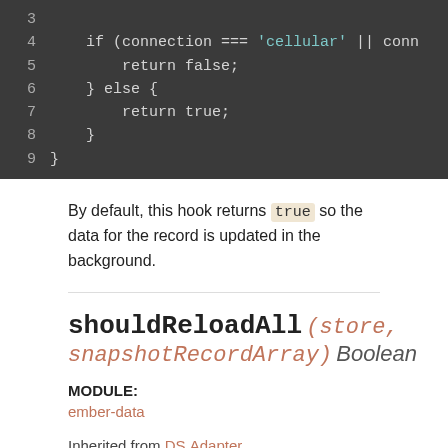[Figure (screenshot): Code block showing lines 3-9 of JavaScript with dark background. Lines show: 3 (empty/partial), 4: if (connection === 'cellular' || conn, 5: return false;, 6: } else {, 7: return true;, 8: }, 9: }]
By default, this hook returns true so the data for the record is updated in the background.
shouldReloadAll (store, snapshotRecordArray) Boolean
MODULE:
ember-data
Inherited from DS.Adapter addon/adapter.js:545
Available since v1.13.0